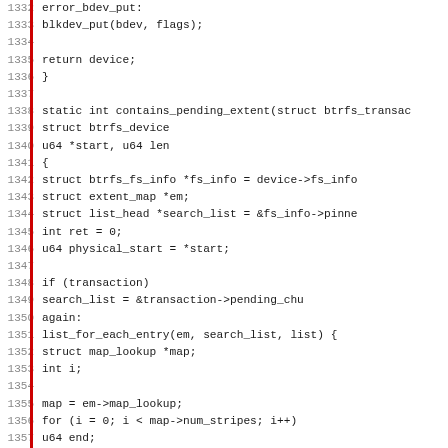Source code listing lines 1332-1363, C kernel code for btrfs filesystem functions error_bdev_put and contains_pending_extent